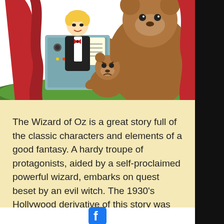[Figure (illustration): Cartoon illustration of a Wizard of Oz parody scene: a man in a tuxedo (the wizard) behind a curtain at a podium/panel, with a small angry-looking bear/groundhog in front and a large brown bear behind red curtains, on a green ground.]
The Wizard of Oz is a great story full of the classic characters and elements of a good fantasy. A hardy troupe of protagonists, aided by a self-proclaimed powerful wizard, embarks on quest beset by an evil witch. The 1930's Hollywood derivative of this story was one of my
[Figure (logo): Facebook logo icon (white f on blue square background)]